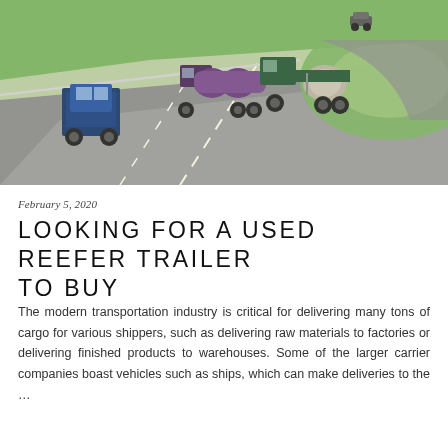[Figure (photo): Aerial view of multiple semi-trucks and commercial vehicles driving on a multi-lane highway with green grass and curved on-ramp visible.]
February 5, 2020
LOOKING FOR A USED REEFER TRAILER TO BUY
The modern transportation industry is critical for delivering many tons of cargo for various shippers, such as delivering raw materials to factories or delivering finished products to warehouses. Some of the larger carrier companies boast vehicles such as ships, which can make deliveries to the …